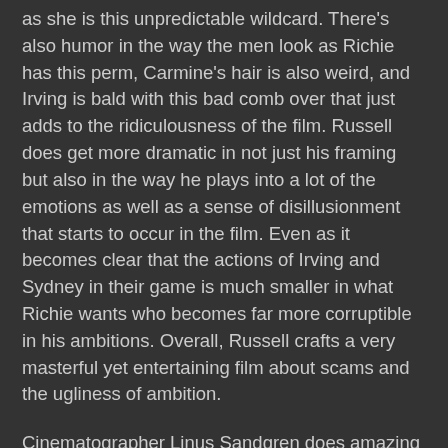as she is this unpredictable wildcard. There's also humor in the way the men look as Richie has this perm, Carmine's hair is also weird, and Irving is bald with this bad comb over that just adds to the ridiculousness of the film. Russell does get more dramatic in not just his framing but also in the way he plays into a lot of the emotions as well as a sense of disillusionment that starts to occur in the film. Even as it becomes clear that the actions of Irving and Sydney in their game is much smaller in what Richie wants who becomes far more corruptible in his ambitions. Overall, Russell crafts a very masterful yet entertaining film about scams and the ugliness of ambition.
Cinematographer Linus Sandgren does amazing work with the film's cinematography from the use of its lighting in much of the film's interior scenes such as the disco and clubs as well as going for a more naturalistic look for the daytime exterior scenes. Editors Jay Cassidy, Alan Baumgarten, and Crispin Struthers do fantastic work with the editing with its emphasis on style with its use of jump-cuts and montages to help play into the intensity of the story. Production designer Judy Becker, with set decorator Heather Loeffler and art director Jesse Rosenthal, does amazing work with the...